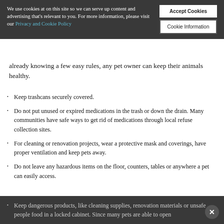We use cookies at on this site so we can serve up content and advertising that's relevant to you. For more information, please visit our Privacy and Cookie Policy
Accept Cookies
Cookie Information
already knowing a few easy rules, any pet owner can keep their animals healthy.
Keep trashcans securely covered.
Do not put unused or expired medications in the trash or down the drain. Many communities have safe ways to get rid of medications through local refuse collection sites.
For cleaning or renovation projects, wear a protective mask and coverings, have proper ventilation and keep pets away.
Do not leave any hazardous items on the floor, counters, tables or anywhere a pet can easily access.
Keep dangerous products, like cleaning supplies, renovation materials or unsafe people food in a locked cabinet. Since many pets are able to open